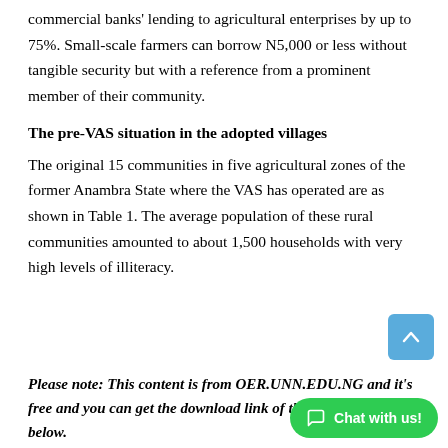commercial banks' lending to agricultural enterprises by up to 75%. Small-scale farmers can borrow N5,000 or less without tangible security but with a reference from a prominent member of their community.
The pre-VAS situation in the adopted villages
The original 15 communities in five agricultural zones of the former Anambra State where the VAS has operated are as shown in Table 1. The average population of these rural communities amounted to about 1,500 households with very high levels of illiteracy.
Please note: This content is from OER.UNN.EDU.NG and it's free and you can get the download link of the complete work below.